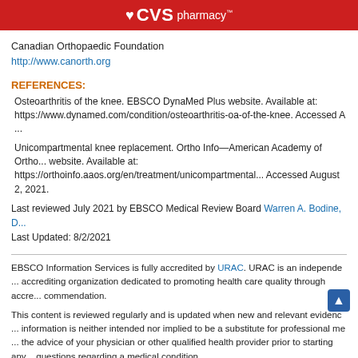CVS pharmacy
Canadian Orthopaedic Foundation
http://www.canorth.org
REFERENCES:
Osteoarthritis of the knee. EBSCO DynaMed Plus website. Available at: https://www.dynamed.com/condition/osteoarthritis-oa-of-the-knee. Accessed A...
Unicompartmental knee replacement. Ortho Info—American Academy of Ortho... website. Available at: https://orthoinfo.aaos.org/en/treatment/unicompartmental... Accessed August 2, 2021.
Last reviewed July 2021 by EBSCO Medical Review Board Warren A. Bodine, D...
Last Updated: 8/2/2021
EBSCO Information Services is fully accredited by URAC. URAC is an independent accrediting organization dedicated to promoting health care quality through accreditation, commendation.
This content is reviewed regularly and is updated when new and relevant evidence is made available. This information is neither intended nor implied to be a substitute for professional medical advice. Always seek the advice of your physician or other qualified health provider prior to starting any new treatment or with questions regarding a medical condition.